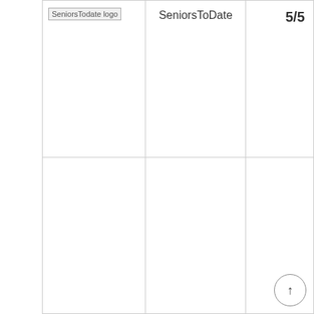| [SeniorsTodate logo] | SeniorsToDate | 5/5 |
|  |  | ↑ |